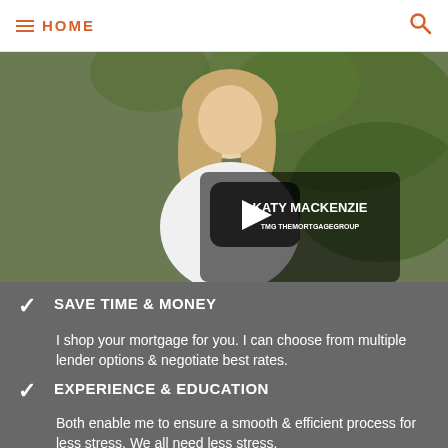HOME
[Figure (photo): Video thumbnail of Katy MacKenzie from The Mortgage Group, showing a blonde woman in a white top with a play button overlay and text 'KATY MACKENZIE THE MORTGAGE GROUP']
SAVE TIME & MONEY
I shop your mortgage for you. I can choose from multiple lender options & negotiate best rates.
EXPERIENCE & EDUCATION
Both enable me to ensure a smooth & efficient process for less stress. We all need less stress.